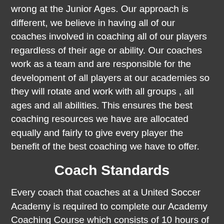wrong at the Junior Ages. Our approach is different, we believe in having all of our coaches involved in coaching all of our players regardless of their age or ability. Our coaches work as a team and are responsible for the development of all players at our academies so they will rotate and work with all groups , all ages and all abilities. This ensures the best coaching resources we have are allocated equally and fairly to give every player the benefit of the best coaching we have to offer.
Coach Standards
Every coach that coaches at a United Soccer Academy is required to complete our Academy Coaching Course which consists of 10 hours of classroom theory and instruction and also 10 hours of on-field practical instruction. We believe in an